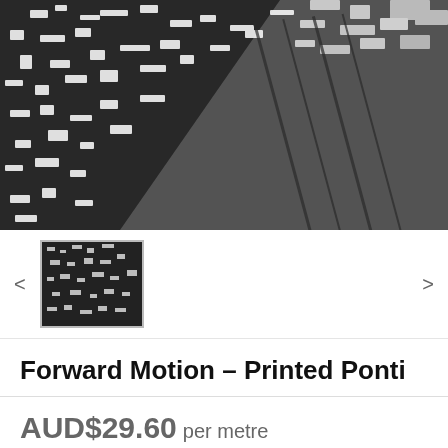[Figure (photo): Close-up photograph of black and white printed ponti fabric showing a geometric/abstract pattern]
[Figure (photo): Small thumbnail image of the same black and white printed ponti fabric]
Forward Motion - Printed Ponti
AUD$29.60 per metre
(AUD$7.40 per qtr metre/0.27 yard)